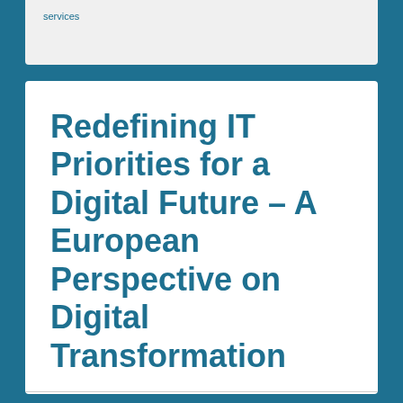services
Redefining IT Priorities for a Digital Future – A European Perspective on Digital Transformation